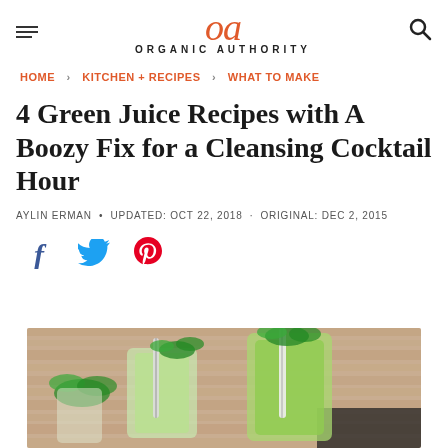Organic Authority
HOME › KITCHEN + RECIPES › WHAT TO MAKE
4 Green Juice Recipes with A Boozy Fix for a Cleansing Cocktail Hour
AYLIN ERMAN • UPDATED: OCT 22, 2018 · ORIGINAL: DEC 2, 2015
[Figure (photo): Two glasses of green juice cocktails with paper straws and fresh mint, placed on a wooden table surface]
[Figure (other): Social media share icons: Facebook, Twitter, Pinterest]